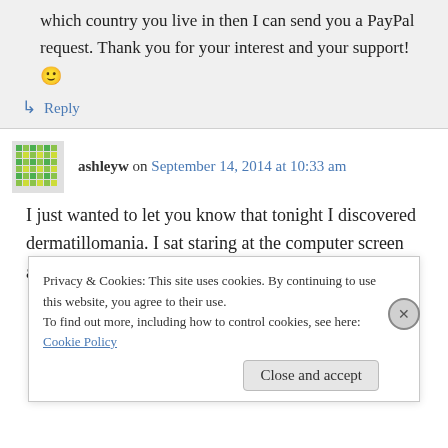which country you live in then I can send you a PayPal request. Thank you for your interest and your support! 🙂
↳ Reply
ashleyw on September 14, 2014 at 10:33 am
I just wanted to let you know that tonight I discovered dermatillomania. I sat staring at the computer screen after about an hour of having
Privacy & Cookies: This site uses cookies. By continuing to use this website, you agree to their use.
To find out more, including how to control cookies, see here: Cookie Policy
Close and accept